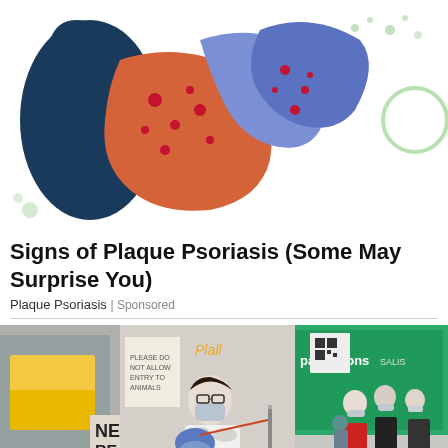[Figure (illustration): Illustrated graphic of a person with plaque psoriasis symptoms shown as red spots on orange/blue stylized body shapes against a white background with green decorative elements]
Signs of Plaque Psoriasis (Some May Surprise You)
Plaque Psoriasis | Sponsored
[Figure (photo): Street scene photo showing a healthcare worker in white coat and mask performing a nasal swab COVID test on a seated person wearing a blue surgical cap and face shield, with a queue of people wearing masks visible in the background outside a shopping mall with a Pantaloons store sign]